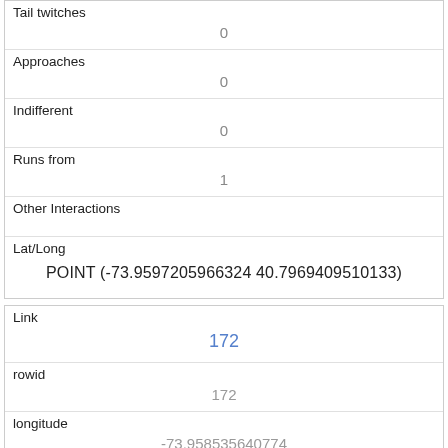| Tail twitches | 0 |
| Approaches | 0 |
| Indifferent | 0 |
| Runs from | 1 |
| Other Interactions |  |
| Lat/Long | POINT (-73.9597205966324 40.7969409510133) |
| Link | 172 |
| rowid | 172 |
| longitude | -73.958535640774 |
| latitude | 40.79827378969998 |